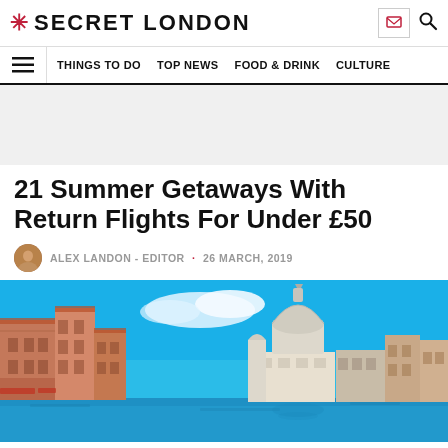SECRET LONDON
THINGS TO DO  TOP NEWS  FOOD & DRINK  CULTURE
[Figure (other): Ad banner placeholder, light grey background]
21 Summer Getaways With Return Flights For Under £50
ALEX LANDON - EDITOR · 26 MARCH, 2019
[Figure (photo): Venice canal with Santa Maria della Salute basilica dome under bright blue sky, colourful historic buildings lining the Grand Canal]